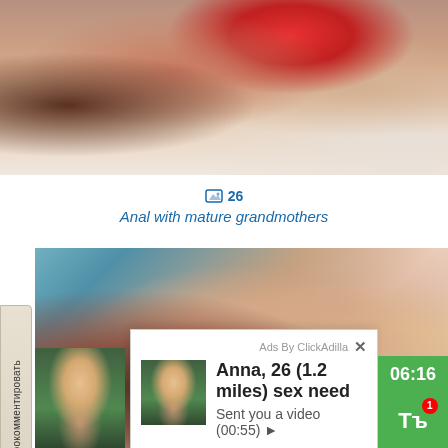[Figure (photo): Top portion of adult content image, cropped]
26
Anal with mature grandmothers
[Figure (photo): Adult content image - main photo]
[Figure (photo): Bottom thumbnail adult content]
Ads By ClickAdilla ×
Anna, 26 (1.2 miles) sex need
Sent you a video (00:55) ▶
06:16
Тъ